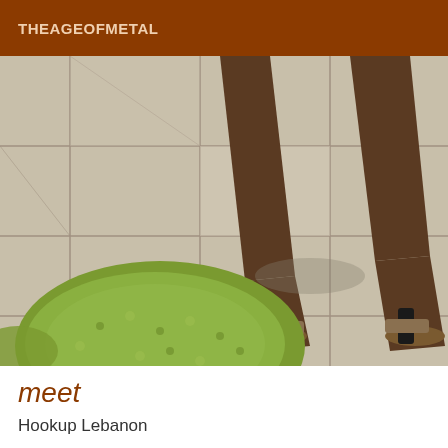THEAGEOFMETAL
[Figure (photo): Close-up photo of two legs wearing high-heeled sandals standing on tiled floor with a green fuzzy round rug in the lower left corner]
meet
Hookup Lebanon